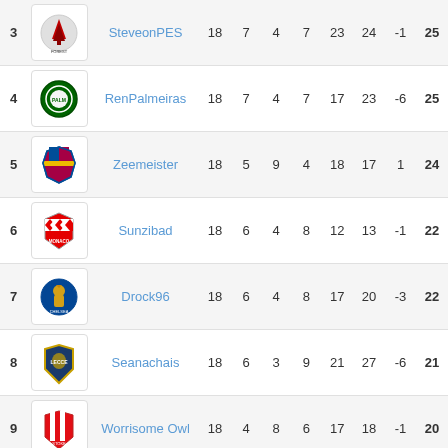| # | Club | Name | P | W | D | L | GF | GA | GD | Pts |
| --- | --- | --- | --- | --- | --- | --- | --- | --- | --- | --- |
| 3 | Nottingham Forest | SteveonPES | 18 | 7 | 4 | 7 | 23 | 24 | -1 | 25 |
| 4 | Palmeiras | RenPalmeiras | 18 | 7 | 4 | 7 | 17 | 23 | -6 | 25 |
| 5 | Barcelona | Zeemeister | 18 | 5 | 9 | 4 | 18 | 17 | 1 | 24 |
| 6 | Monaco | Sunzibad | 18 | 6 | 4 | 8 | 12 | 13 | -1 | 22 |
| 7 | Chelsea | Drock96 | 18 | 6 | 4 | 8 | 17 | 20 | -3 | 22 |
| 8 | Lecce | Seanachais | 18 | 6 | 3 | 9 | 21 | 27 | -6 | 21 |
| 9 | Stoke City | Worrisome Owl | 18 | 4 | 8 | 6 | 17 | 18 | -1 | 20 |